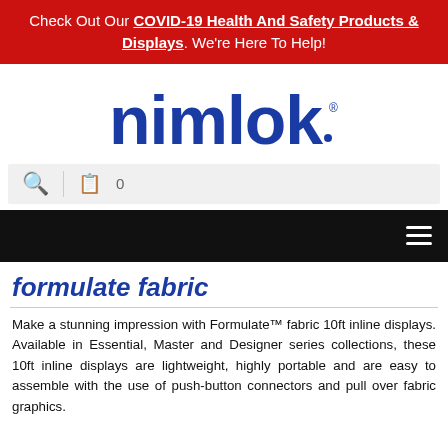Check Out Our COVID-19 Health And Safety Products & Displays. We're Here To Help!
[Figure (logo): Nimlok logo in blue rounded lettering with registered trademark symbol]
[Figure (screenshot): Search bar and cart icon with count 0]
[Figure (screenshot): Black navigation bar with hamburger menu icon on right]
formulate fabric
Make a stunning impression with Formulate™ fabric 10ft inline displays. Available in Essential, Master and Designer series collections, these 10ft inline displays are lightweight, highly portable and are easy to assemble with the use of push-button connectors and pull over fabric graphics.